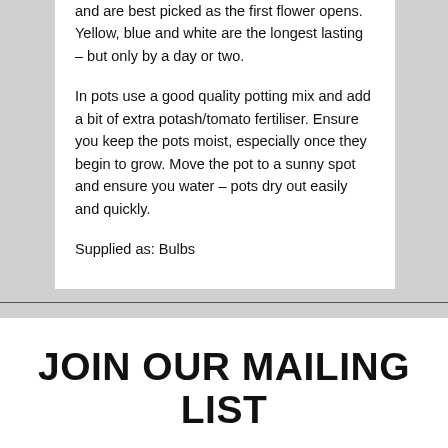and are best picked as the first flower opens. Yellow, blue and white are the longest lasting – but only by a day or two.

In pots use a good quality potting mix and add a bit of extra potash/tomato fertiliser. Ensure you keep the pots moist, especially once they begin to grow. Move the pot to a sunny spot and ensure you water – pots dry out easily and quickly.

Supplied as: Bulbs
JOIN OUR MAILING LIST
Receive 4 free catalogues throughout the